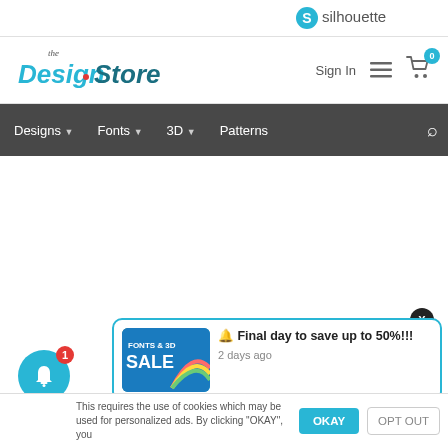[Figure (logo): Silhouette brand logo — teal circle with S, followed by 'silhouette' text]
[Figure (logo): The Design Store logo in teal cursive lettering]
Sign In
[Figure (screenshot): Hamburger menu icon (three horizontal lines)]
[Figure (screenshot): Shopping cart icon with badge showing 0]
Designs ∨  Fonts ∨  3D ∨  Patterns
[Figure (screenshot): Close button X in dark circle]
[Figure (screenshot): Notification popup: FONTS & 3D SALE banner thumbnail with rainbow graphic, text: Final day to save up to 50%!!! 2 days ago]
[Figure (screenshot): Teal bell notification icon with red badge showing 1]
This requires the use of cookies which may be used for personalized ads. By clicking "OKAY", you
OKAY
OPT OUT